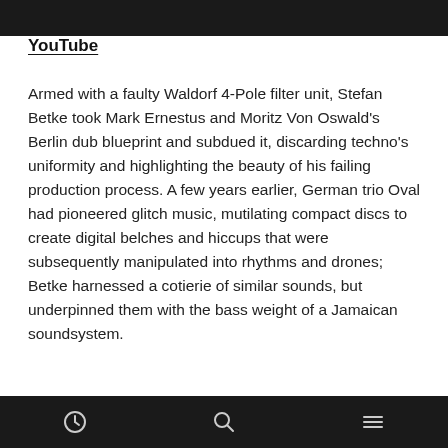YouTube
Armed with a faulty Waldorf 4-Pole filter unit, Stefan Betke took Mark Ernestus and Moritz Von Oswald’s Berlin dub blueprint and subdued it, discarding techno’s uniformity and highlighting the beauty of his failing production process. A few years earlier, German trio Oval had pioneered glitch music, mutilating compact discs to create digital belches and hiccups that were subsequently manipulated into rhythms and drones; Betke harnessed a cotierie of similar sounds, but underpinned them with the bass weight of a Jamaican soundsystem.
[navigation icons: clock, search, menu]